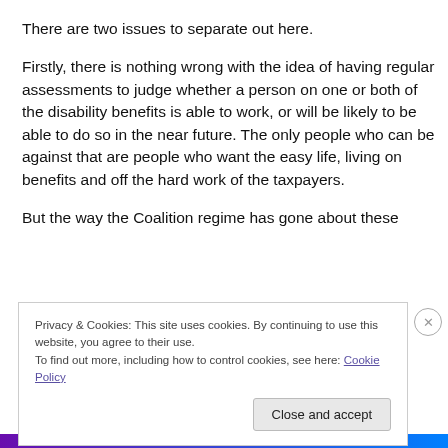There are two issues to separate out here.
Firstly, there is nothing wrong with the idea of having regular assessments to judge whether a person on one or both of the disability benefits is able to work, or will be likely to be able to do so in the near future. The only people who can be against that are people who want the easy life, living on benefits and off the hard work of the taxpayers.
But the way the Coalition regime has gone about these
Privacy & Cookies: This site uses cookies. By continuing to use this website, you agree to their use.
To find out more, including how to control cookies, see here: Cookie Policy
Close and accept